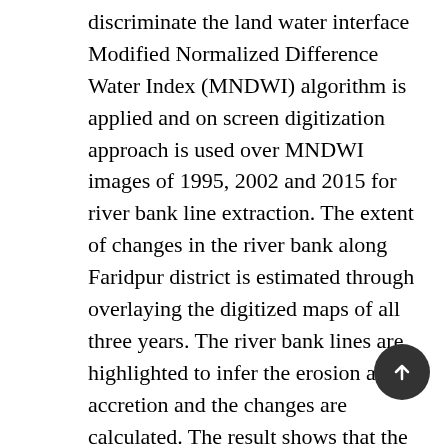discriminate the land water interface Modified Normalized Difference Water Index (MNDWI) algorithm is applied and on screen digitization approach is used over MNDWI images of 1995, 2002 and 2015 for river bank line extraction. The extent of changes in the river bank along Faridpur district is estimated through overlaying the digitized maps of all three years. The river bank lines are highlighted to infer the erosion and accretion and the changes are calculated. The result shows that the middle of the river is gaining land through sedimentation and the both side river bank is shifting causing severe erosion that consequently resulting the loss of farmland and homestead. Over the study period from 1995 to 2015 it witnessed huge erosion and accretion that played an active role in the changes of the river bank.
Keywords: river bank, erosion and accretion, change monitoring, remote sensing